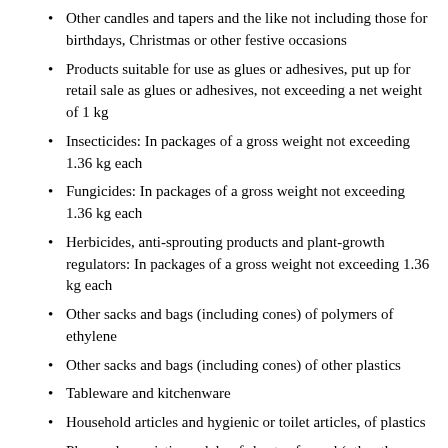Other candles and tapers and the like not including those for birthdays, Christmas or other festive occasions
Products suitable for use as glues or adhesives, put up for retail sale as glues or adhesives, not exceeding a net weight of 1 kg
Insecticides: In packages of a gross weight not exceeding 1.36 kg each
Fungicides: In packages of a gross weight not exceeding 1.36 kg each
Herbicides, anti-sprouting products and plant-growth regulators: In packages of a gross weight not exceeding 1.36 kg each
Other sacks and bags (including cones) of polymers of ethylene
Other sacks and bags (including cones) of other plastics
Tableware and kitchenware
Household articles and hygienic or toilet articles, of plastics
Plywood, consisting solely of sheets of wood (other than bamboo), each ply not exceeding 6 mm thickness: Other, with both outer plies of coniferous wood
Other plywood, veneered panels and similar laminated wood
Other paper and paperboard, not containing fibres obtained by a mechanical or chemi-mechanical process or of which not more